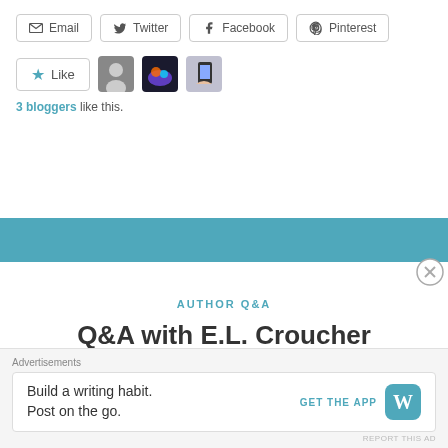[Figure (screenshot): Social share buttons: Email, Twitter, Facebook, Pinterest]
[Figure (screenshot): Like button with star icon and 3 blogger avatars]
3 bloggers like this.
AUTHOR Q&A
Q&A with E.L. Croucher
Posted on November 25, 2019 by elishasbookreview
Advertisements
Build a writing habit. Post on the go.
GET THE APP